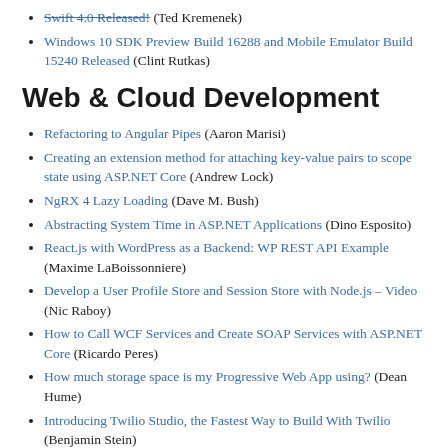Swift 4.0 Released! (Ted Kremenek)
Windows 10 SDK Preview Build 16288 and Mobile Emulator Build 15240 Released (Clint Rutkas)
Web & Cloud Development
Refactoring to Angular Pipes (Aaron Marisi)
Creating an extension method for attaching key-value pairs to scope state using ASP.NET Core (Andrew Lock)
NgRX 4 Lazy Loading (Dave M. Bush)
Abstracting System Time in ASP.NET Applications (Dino Esposito)
React.js with WordPress as a Backend: WP REST API Example (Maxime LaBoissonniere)
Develop a User Profile Store and Session Store with Node.js – Video (Nic Raboy)
How to Call WCF Services and Create SOAP Services with ASP.NET Core (Ricardo Peres)
How much storage space is my Progressive Web App using? (Dean Hume)
Introducing Twilio Studio, the Fastest Way to Build With Twilio (Benjamin Stein)
Twilio Functions Now Supports npm (Chris Corcoran)
Use Azure App Insights to track events in your app/web